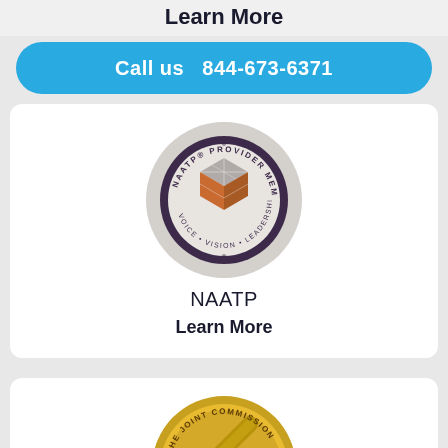Learn More
Call us   844-673-6371
[Figure (logo): NAATP Provider Member badge — circular dark purple badge with geometric cube design in orange and grey, text reading NAATP PROVIDER MEMBER and VOICE VISION LEADERSHIP]
NAATP
Learn More
[Figure (logo): The Joint Commission National Quality Approval gold seal — circular gold medal with diagonal stripe design]
Joint Commission